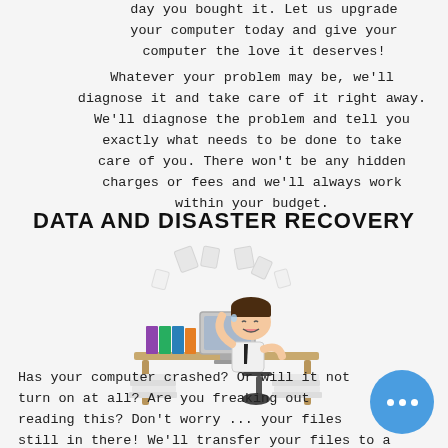day you bought it. Let us upgrade your computer today and give your computer the love it deserves!
Whatever your problem may be, we'll diagnose it and take care of it right away. We'll diagnose the problem and tell you exactly what needs to be done to take care of you. There won't be any hidden charges or fees and we'll always work within your budget.
DATA AND DISASTER RECOVERY
[Figure (illustration): Cartoon illustration of a stressed businessman at a desk with a computer, papers flying in the air, surrounded by stacks of papers]
Has your computer crashed? Or will it not turn on at all? Are you freaking out reading this? Don't worry ... your files still in there! We'll transfer your files to a working drive and see what we can do to